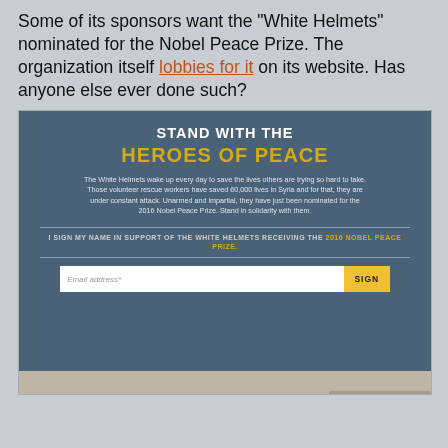Some of its sponsors want the "White Helmets" nominated for the Nobel Peace Prize. The organization itself lobbies for it on its website. Has anyone else ever done such?
[Figure (screenshot): Screenshot of a White Helmets website petition page. Top section has a dark blue-grey banner reading 'STAND WITH THE HEROES OF PEACE' with body text about White Helmets saving 60,000 lives and being nominated for the 2016 Nobel Peace Prize. There is a call-to-action line 'I SIGN MY NAME IN SUPPORT OF THE WHITE HELMETS RECEIVING THE 2016 NOBEL PEACE PRIZE.' with an email input field and a yellow 'SIGN' button. Below is a photograph of a White Helmet rescue worker carrying a child in a war-torn Syrian street scene.]